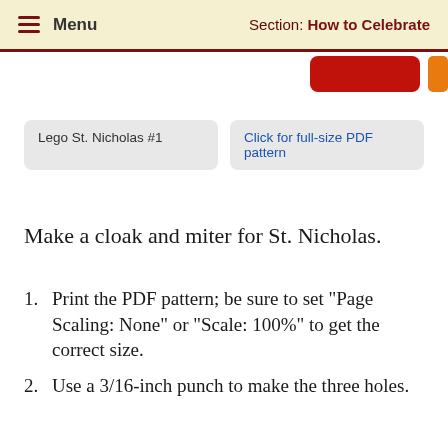Menu   Section: How to Celebrate
[Figure (photo): Partial image of a colorful Lego St. Nicholas figure, showing a red and yellow element at the top right corner]
Lego St. Nicholas #1
Click for full-size PDF pattern
Make a cloak and miter for St. Nicholas.
Print the PDF pattern; be sure to set "Page Scaling: None" or "Scale: 100%" to get the correct size.
Use a 3/16-inch punch to make the three holes.